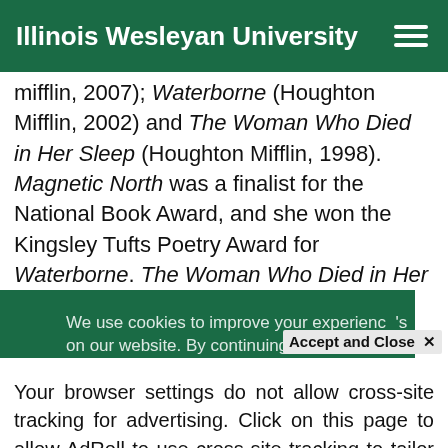Illinois Wesleyan University
mifflin, 2007); Waterborne (Houghton Mifflin, 2002) and The Woman Who Died in Her Sleep (Houghton Mifflin, 1998). Magnetic North was a finalist for the National Book Award, and she won the Kingsley Tufts Poetry Award for Waterborne. The Woman Who Died in Her Sleep was a finalist for both The Poet's Prize and the Lenore Marshall Poetry Prize.
We use cookies to improve your experience's on our website. By continuing to use our site, from
Accept and Close ×
Your browser settings do not allow cross-site tracking for advertising. Click on this page to allow AdRoll to use cross-site tracking to tailor ads to you. Learn more or opt out of this AdRoll tracking by clicking here. This message only appears once.
Society of America, and the Modern Poetry